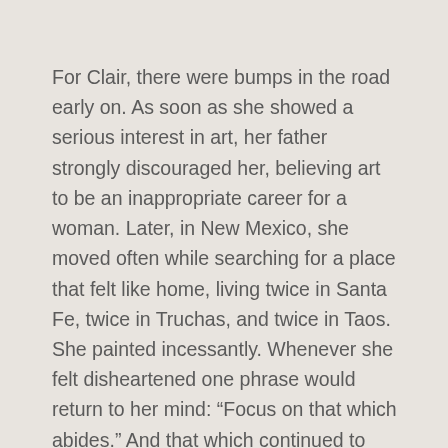For Clair, there were bumps in the road early on. As soon as she showed a serious interest in art, her father strongly discouraged her, believing art to be an inappropriate career for a woman. Later, in New Mexico, she moved often while searching for a place that felt like home, living twice in Santa Fe, twice in Truchas, and twice in Taos. She painted incessantly. Whenever she felt disheartened one phrase would return to her mind: “Focus on that which abides.” And that which continued to abide was her art. “I had a lot to overcome,” she says. “What changed was me, and then the painting changed. I don’t know how I would have survived without my artwork.”